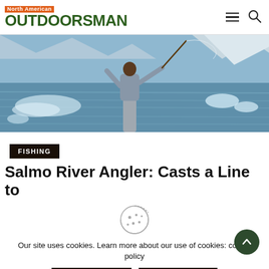North American OUTDOORSMAN
[Figure (photo): A fly fisherman standing waist-deep in a river, casting a fishing line, with snowy mountains and icy water in the background.]
FISHING
Salmo River Angler: Casts a Line to
Our site uses cookies. Learn more about our use of cookies: cookie policy
ACCEPT
REJECT